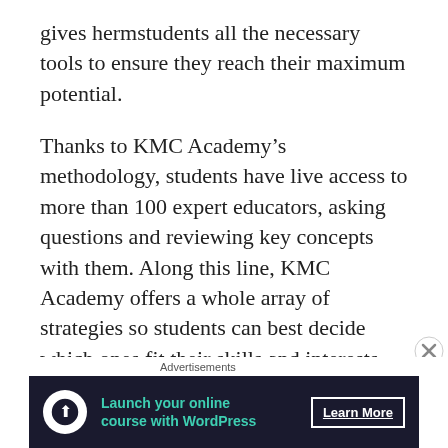gives hermstudents all the necessary tools to ensure they reach their maximum potential.
Thanks to KMC Academy’s methodology, students have live access to more than 100 expert educators, asking questions and reviewing key concepts with them. Along this line, KMC Academy offers a whole array of strategies so students can best decide which ones fit their skills and interests.
To get started is not cheap…but it can pay for itself many times over with the value you receive.
Advertisements
[Figure (other): Advertisement banner: dark navy background with circular white icon showing a person/tree silhouette, teal bold text 'Launch your online course with WordPress', and a white underlined 'Learn More' button on the right. A close (X) button appears in the top-right corner of the ad area.]